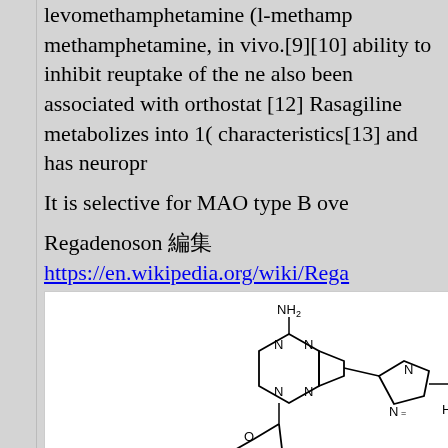levomethamphetamine (l-methamp methamphetamine, in vivo.[9][10] ability to inhibit reuptake of the ne also been associated with orthostat [12] Rasagiline metabolizes into 1( characteristics[13] and has neuropr
It is selective for MAO type B ove
Regadenoson 編集
https://en.wikipedia.org/wiki/Rega
[Figure (illustration): Chemical structure diagram of Regadenoson showing a purine ring system with NH2 group, connected to a ribose sugar (with HO, OH, OH groups) and an imidazole ring with a carboxamide group (HN-CH3). Molecular structure drawn in standard chemical notation.]
Regadenoson (CVT-3146, Lexisca